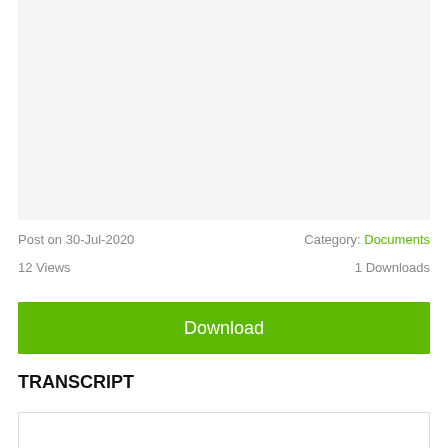[Figure (other): Gray preview/thumbnail area for a document]
Post on 30-Jul-2020
Category: Documents
12 Views
1 Downloads
Download
TRANSCRIPT